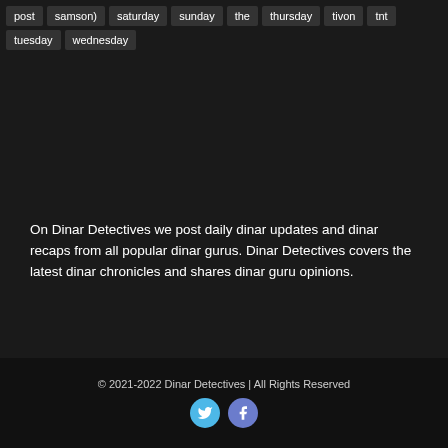post
samson)
saturday
sunday
the
thursday
tivon
tnt
tuesday
wednesday
On Dinar Detectives we post daily dinar updates and dinar recaps from all popular dinar gurus. Dinar Detectives covers the latest dinar chronicles and shares dinar guru opinions.
© 2021-2022 Dinar Detectives | All Rights Reserved